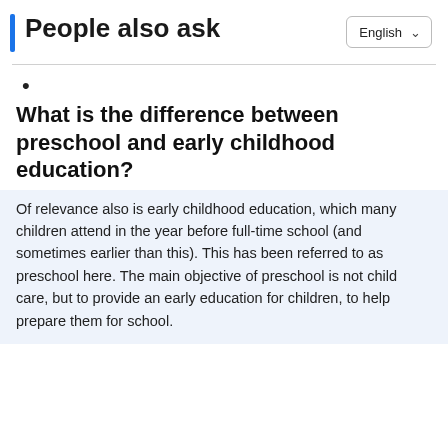People also ask
•
What is the difference between preschool and early childhood education?
Of relevance also is early childhood education, which many children attend in the year before full-time school (and sometimes earlier than this). This has been referred to as preschool here. The main objective of preschool is not child care, but to provide an early education for children, to help prepare them for school.